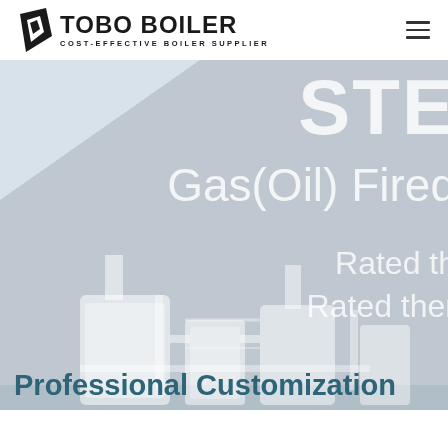[Figure (logo): TOBO BOILER logo with geometric diamond icon and text 'COST-EFFECTIVE BOILER SUPPLIER']
[Figure (screenshot): Hero banner with gray background showing partial text 'STE', 'Gas(Oil) Fired', 'Rated th', 'Rated ther' and boiler industrial illustration at bottom]
Professional Customization